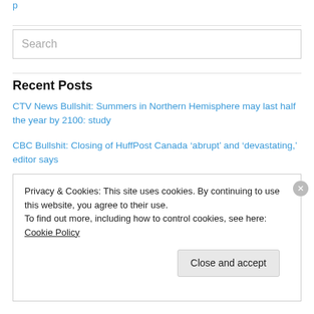p
Search
Recent Posts
CTV News Bullshit: Summers in Northern Hemisphere may last half the year by 2100: study
CBC Bullshit: Closing of HuffPost Canada ‘abrupt’ and ‘devastating,’ editor says
Privacy & Cookies: This site uses cookies. By continuing to use this website, you agree to their use. To find out more, including how to control cookies, see here: Cookie Policy
Close and accept